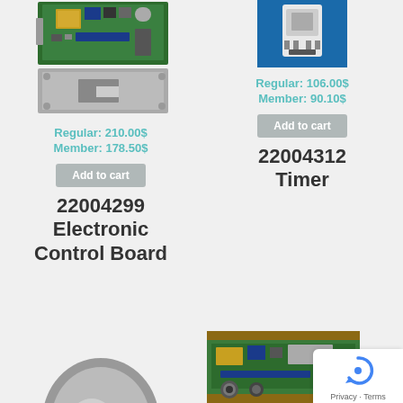[Figure (photo): Electronic control board PCB photo showing green circuit board with components]
Regular: 210.00$
Member: 178.50$
Add to cart
22004299 Electronic Control Board
[Figure (photo): Timer component photo on blue background]
Regular: 106.00$
Member: 90.10$
Add to cart
22004312 Timer
[Figure (photo): Round dome-shaped appliance part, bottom-left partial]
[Figure (photo): Green circuit board partial, bottom-right]
[Figure (other): reCAPTCHA privacy badge with Privacy - Terms text]